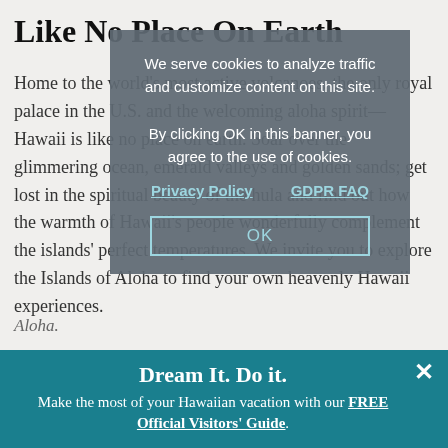Like No Place On Earth
Home to the world's most active volcanoes, the only royal palace in the U.S. and the welcoming aloha spirit—Hawaii is like no place on earth. Soar over the glimmering ocean, emerald valleys and golden sands; get lost in the spiritual beauty of the hula and find out how the warmth of Hawaii's people wonderfully complement the islands' perfect temperatures. We invite you to explore the Islands of Aloha to find your own heavenly Hawaii experiences.
Aloha.
We serve cookies to analyze traffic and customize content on this site. By clicking OK in this banner, you agree to the use of cookies.
Privacy Policy    GDPR FAQ
OK
BACK TO TOP
Dream It. Do it.
Make the most of your Hawaiian vacation with our FREE Official Visitors' Guide.